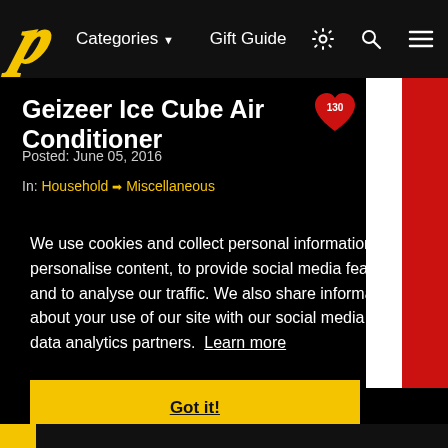D  Categories ▼  Gift Guide
Geizeer Ice Cube Air Conditioner
Posted: June 05, 2016
In: Household ➡ Miscellaneous
We use cookies and collect personal information to personalise content, to provide social media features and to analyse our traffic. We also share information about your use of our site with our social media and data analytics partners. Learn more
Got it!